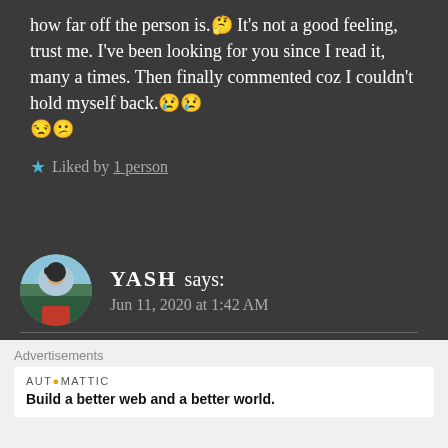how far off the person is.🤔 It's not a good feeling, trust me. I've been looking for you since I read it, many a times. Then finally commented coz I couldn't hold myself back.😢😢😒😕
★ Liked by 1 person
YASH says: Jun 11, 2020 at 1:42 AM
Advertisements
AUTOMATTIC Build a better web and a better world.